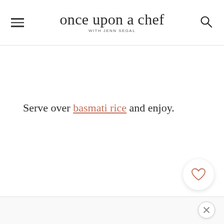once upon a chef WITH JENN SEGAL
Serve over basmati rice and enjoy.